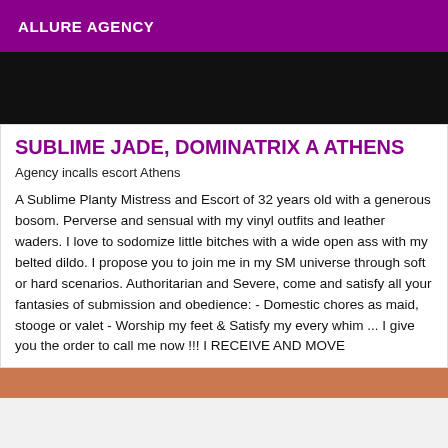ALLURE AGENCY
[Figure (photo): Dark/black clothing photo strip at top of card]
SUBLIME JADE, DOMINATRIX A ATHENS
Agency incalls escort Athens
A Sublime Planty Mistress and Escort of 32 years old with a generous bosom. Perverse and sensual with my vinyl outfits and leather waders. I love to sodomize little bitches with a wide open ass with my belted dildo. I propose you to join me in my SM universe through soft or hard scenarios. Authoritarian and Severe, come and satisfy all your fantasies of submission and obedience: - Domestic chores as maid, stooge or valet - Worship my feet & Satisfy my every whim ... I give you the order to call me now !!! I RECEIVE AND MOVE
[Figure (photo): Bottom strip photo partially visible]